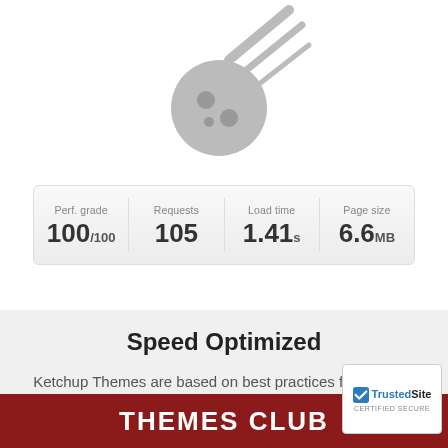[Figure (illustration): Gray meteor/comet icon with speed lines, falling diagonally]
| Perf. grade | Requests | Load time | Page size |
| --- | --- | --- | --- |
| 100/100 | 105 | 1.41s | 6.6MB |
Speed Optimized
Ketchup Themes are based on best practices for usability and website optimization for maximum website performance.
[Figure (logo): Red banner with THEMES CLUB text and TrustedSite certified secure badge]